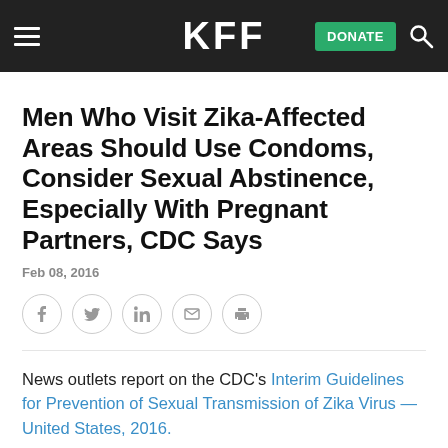KFF
Men Who Visit Zika-Affected Areas Should Use Condoms, Consider Sexual Abstinence, Especially With Pregnant Partners, CDC Says
Feb 08, 2016
[Figure (other): Social sharing icons: Facebook, Twitter, LinkedIn, Email, Print]
News outlets report on the CDC's Interim Guidelines for Prevention of Sexual Transmission of Zika Virus — United States, 2016.